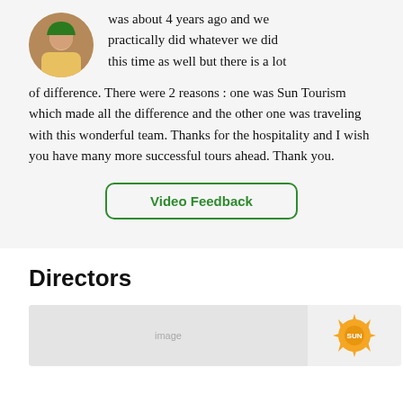was about 4 years ago and we practically did whatever we did this time as well but there is a lot of difference. There were 2 reasons : one was Sun Tourism which made all the difference and the other one was traveling with this wonderful team. Thanks for the hospitality and I wish you have many more successful tours ahead. Thank you.
[Figure (other): Video Feedback button with green border and text]
Directors
[Figure (photo): Two images side by side: a light gray placeholder image on the left and a Sun Tourism logo on the right]